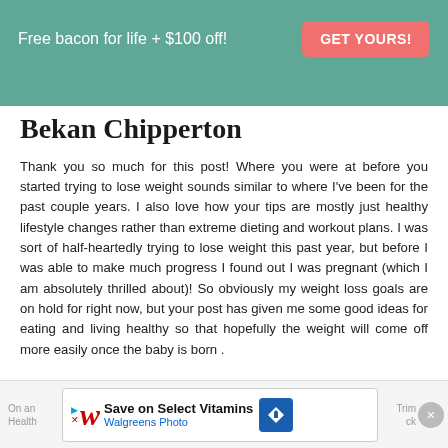Free bacon for life + $100 off! GET YOURS!
Bekan Chipperton
Thank you so much for this post! Where you were at before you started trying to lose weight sounds similar to where I've been for the past couple years. I also love how your tips are mostly just healthy lifestyle changes rather than extreme dieting and workout plans. I was sort of half-heartedly trying to lose weight this past year, but before I was able to make much progress I found out I was pregnant (which I am absolutely thrilled about)! So obviously my weight loss goals are on hold for right now, but your post has given me some good ideas for eating and living healthy so that hopefully the weight will come off more easily once the baby is born .
On and... Save on Select Vitamins Walgreens Photo Trim Health...